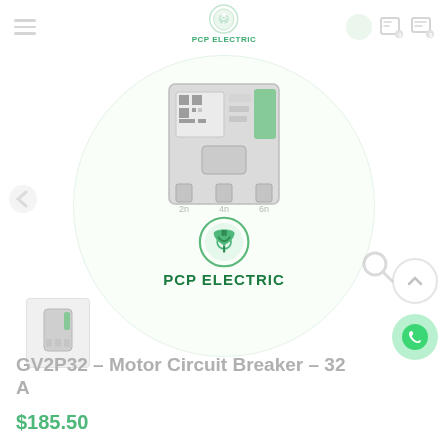PCP ELECTRIC
[Figure (photo): Motor Circuit Breaker product image (Schneider Electric GV2P32) shown inside a circular frame, with a smaller thumbnail below on the left. A PCP Electric watermark logo is overlaid in the center.]
GV2P32 – Motor Circuit Breaker – 32 A
$185.50